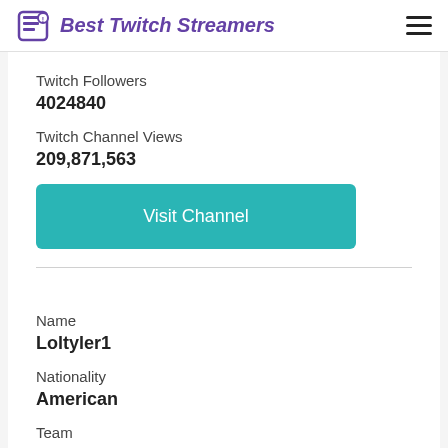Best Twitch Streamers
Twitch Followers
4024840
Twitch Channel Views
209,871,563
Visit Channel
Name
Loltyler1
Nationality
American
Team